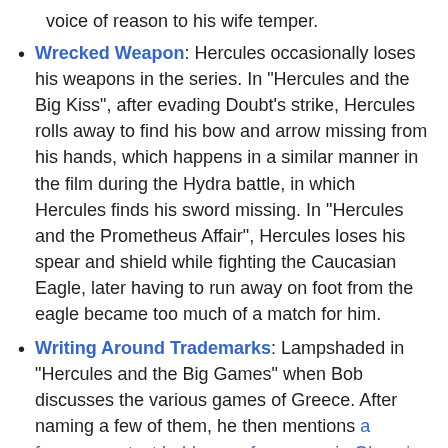voice of reason to his wife temper.
Wrecked Weapon: Hercules occasionally loses his weapons in the series. In "Hercules and the Big Kiss", after evading Doubt's strike, Hercules rolls away to find his bow and arrow missing from his hands, which happens in a similar manner in the film during the Hydra battle, in which Hercules finds his sword missing. In "Hercules and the Prometheus Affair", Hercules loses his spear and shield while fighting the Caucasian Eagle, later having to run away on foot from the eagle became too much of a match for him.
Writing Around Trademarks: Lampshaded in "Hercules and the Big Games" when Bob discusses the various games of Greece. After naming a few of them, he then mentions a famous contest held every four years in Olympia, but he adds they can't say the name outright "due to trademark restrictions." "Big Games" has to suffice.